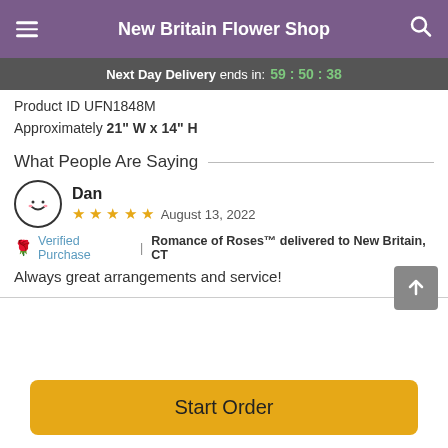New Britain Flower Shop
Next Day Delivery ends in: 59 : 50 : 38
Product ID UFN1848M
Approximately 21" W x 14" H
What People Are Saying
Dan  ★★★★★  August 13, 2022
Verified Purchase | Romance of Roses™ delivered to New Britain, CT
Always great arrangements and service!
Start Order